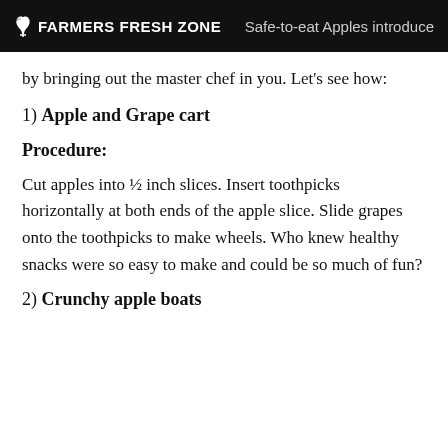FARMERS FRESH ZONE — Safe-to-eat Apples introduce
by bringing out the master chef in you. Let's see how:
1) Apple and Grape cart
Procedure:
Cut apples into ½ inch slices. Insert toothpicks horizontally at both ends of the apple slice. Slide grapes onto the toothpicks to make wheels. Who knew healthy snacks were so easy to make and could be so much of fun?
2) Crunchy apple boats